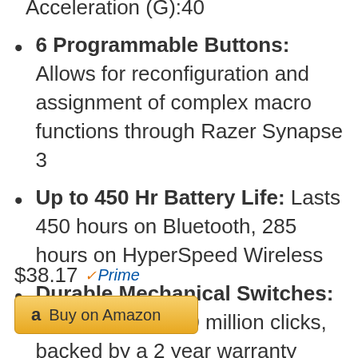Acceleration (G):40
6 Programmable Buttons: Allows for reconfiguration and assignment of complex macro functions through Razer Synapse 3
Up to 450 Hr Battery Life: Lasts 450 hours on Bluetooth, 285 hours on HyperSpeed Wireless
Durable Mechanical Switches: Supports up to 50 million clicks, backed by a 2 year warranty
$38.17 Prime
Buy on Amazon